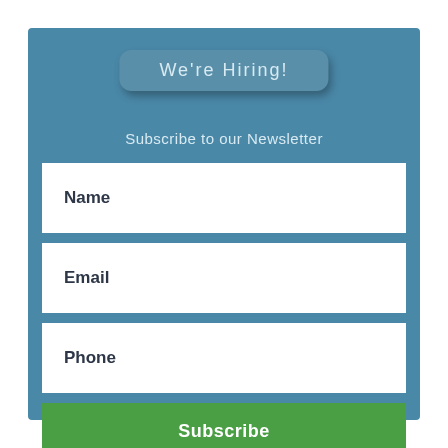We're Hiring!
Subscribe to our Newsletter
Name
Email
Phone
Subscribe
© 2022 by Shubie Camprgound